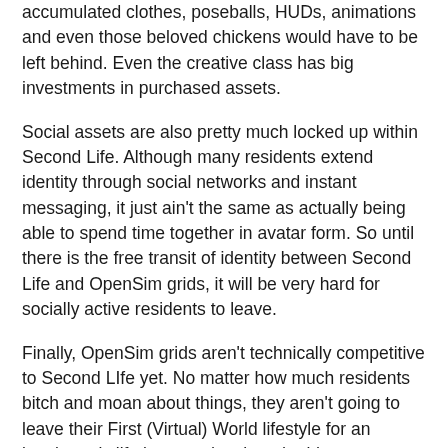accumulated clothes, poseballs, HUDs, animations and even those beloved chickens would have to be left behind. Even the creative class has big investments in purchased assets.
Social assets are also pretty much locked up within Second Life. Although many residents extend identity through social networks and instant messaging, it just ain't the same as actually being able to spend time together in avatar form. So until there is the free transit of identity between Second Life and OpenSim grids, it will be very hard for socially active residents to leave.
Finally, OpenSim grids aren't technically competitive to Second LIfe yet. No matter how much residents bitch and moan about things, they aren't going to leave their First (Virtual) World lifestyle for an immigrant's life in an undeveloped grid.
So if current residents are going to stay put, why do I think Linden Lab should focus more on them? It's because I think the best way to figure out how to target, attract and retain new residents is to put existing residents under a microscope